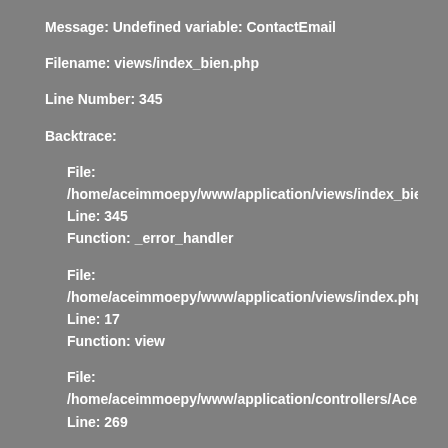Message: Undefined variable: ContactEmail
Filename: views/index_bien.php
Line Number: 345
Backtrace:
File:
/home/aceimmoepy/www/application/views/index_bien.ph
Line: 345
Function: _error_handler
File:
/home/aceimmoepy/www/application/views/index.php
Line: 17
Function: view
File:
/home/aceimmoepy/www/application/controllers/Ace.ph
Line: 269